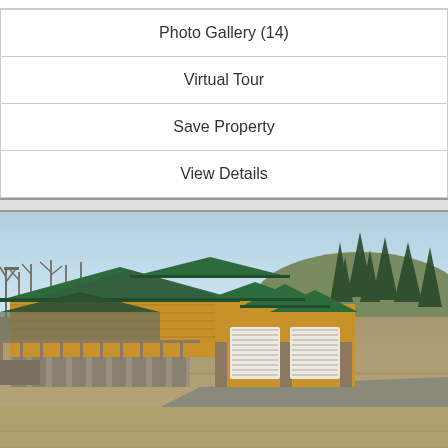Photo Gallery (14)
Virtual Tour
Save Property
View Details
[Figure (photo): Exterior photo of a large log-style home with green metal roofing, yellow/tan wood siding, a covered deck/porch area, multiple garage doors, stone pillars, and a driveway. The home is set on a hillside with bare winter trees in the background and dry grass in the foreground.]